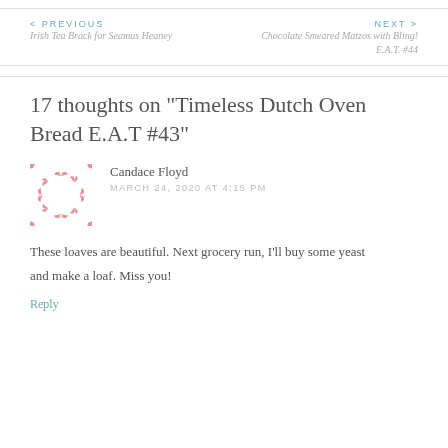< PREVIOUS
Irish Tea Brack for Seamus Heaney
NEXT >
Chocolate Smeared Matzos with Bling! E.A.T. #44
17 thoughts on “Timeless Dutch Oven Bread E.A.T #43”
Candace Floyd
MARCH 24, 2020 AT 4:15 PM
These loaves are beautiful. Next grocery run, I’ll buy some yeast and make a loaf. Miss you!
Reply